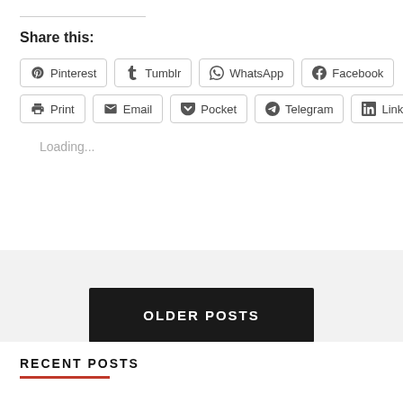Share this:
Pinterest  Tumblr  WhatsApp  Facebook  Print  Email  Pocket  Telegram  LinkedIn
Loading...
OLDER POSTS
RECENT POSTS